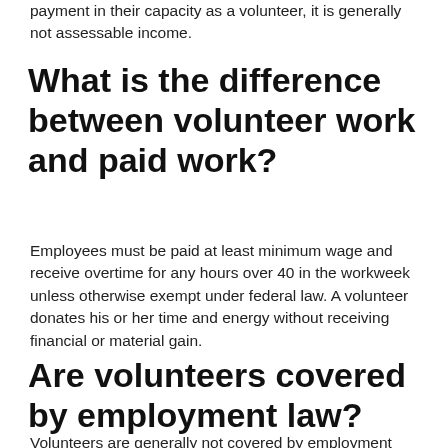payment in their capacity as a volunteer, it is generally not assessable income.
What is the difference between volunteer work and paid work?
Employees must be paid at least minimum wage and receive overtime for any hours over 40 in the workweek unless otherwise exempt under federal law. A volunteer donates his or her time and energy without receiving financial or material gain.
Are volunteers covered by employment law?
Volunteers are generally not covered by employment law...